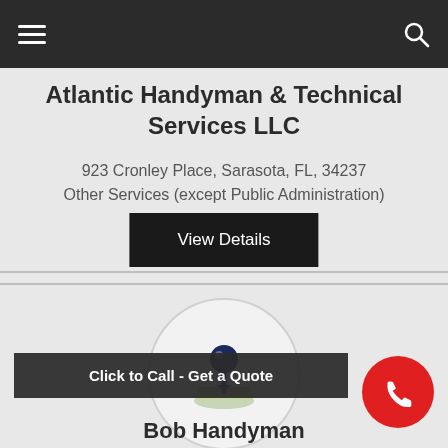Atlantic Handyman & Technical Services LLC navigation bar
Atlantic Handyman & Technical Services LLC
923 Cronley Place, Sarasota, FL, 34237
Other Services (except Public Administration)
View Details
[Figure (illustration): Map location pin icon inside a circular frame with a paper map beneath the pin, on a light grey circular background]
Click to Call - Get a Quote
[Figure (illustration): Red circular phone call button with white phone handset icon]
Bob Handyman